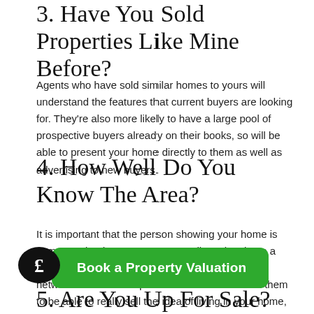3. Have You Sold Properties Like Mine Before?
Agents who have sold similar homes to yours will understand the features that current buyers are looking for. They're also more likely to have a large pool of prospective buyers already on their books, so will be able to present your home directly to them as well as advertising to new buyers.
4. How Well Do You Know The Area?
It is important that the person showing your home is someone that knows your area well, so they have a personal knowledge of nearby schools, transport networks and other important facilities. You want them to be able to really sell the idea of living in your home, and someone with first-hand experience of the local area is best placed to do so.
[Figure (other): Green 'Book a Property Valuation' call-to-action button with a black speech bubble icon containing a pound sign (£)]
5. Are You Up For Sale?